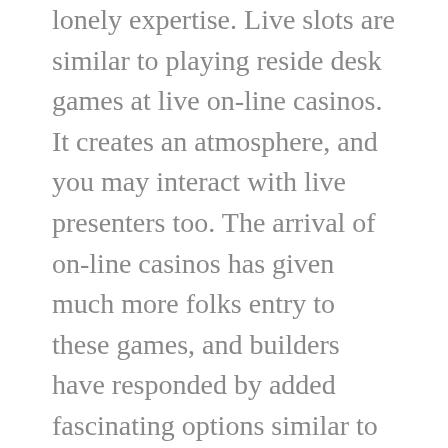lonely expertise. Live slots are similar to playing reside desk games at live on-line casinos. It creates an atmosphere, and you may interact with live presenters too. The arrival of on-line casinos has given much more folks entry to these games, and builders have responded by added fascinating options similar to the following.
Yes, the Nigerian Lottery Commission regulates online gambling in Nigeria, and all casinos and sportsbooks are required to obtain a license before they will function. Although online guidelines aren't particularly mentioned exactly within the regulation, the companies are expected to observe the same rules that apply to